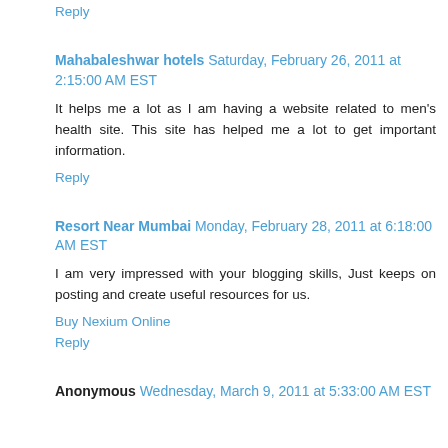Reply
Mahabaleshwar hotels Saturday, February 26, 2011 at 2:15:00 AM EST
It helps me a lot as I am having a website related to men's health site. This site has helped me a lot to get important information.
Reply
Resort Near Mumbai Monday, February 28, 2011 at 6:18:00 AM EST
I am very impressed with your blogging skills, Just keeps on posting and create useful resources for us.
Buy Nexium Online
Reply
Anonymous Wednesday, March 9, 2011 at 5:33:00 AM EST